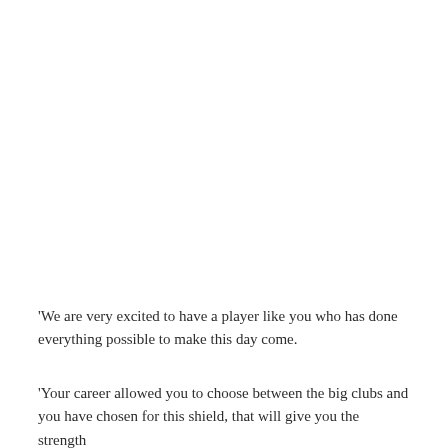‘We are very excited to have a player like you who has done everything possible to make this day come.
‘Your career allowed you to choose between the big clubs and you have chosen for this shield, that will give you the strength